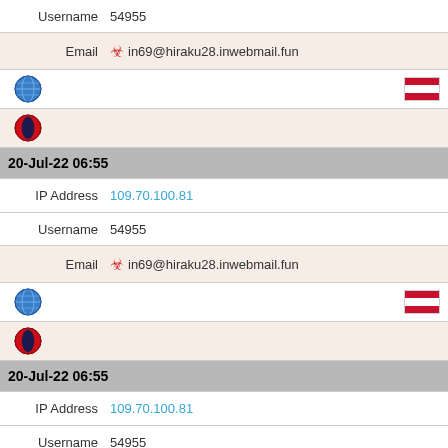| Username | 54955 |
| Email | ☣ in69@hiraku28.inwebmail.fun |
| [globe icon] | [AT flag] |
| [opera icon] |  |
| 20-Jul-22 06:55 |  |
| IP Address | 109.70.100.81 |
| Username | 54955 |
| Email | ☣ in69@hiraku28.inwebmail.fun |
| [globe icon] | [AT flag] |
| [opera icon] |  |
| 20-Jul-22 06:55 |  |
| IP Address | 109.70.100.81 |
| Username | 54955 |
| Email | ☣ in69@hiraku28.inwebmail.fun |
| [globe icon] | [AT flag] |
| [opera icon] |  |
| 20-Jul-22 06:55 |  |